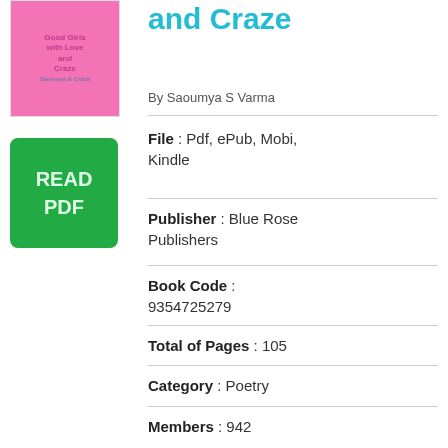[Figure (illustration): Book cover thumbnail for 'Good Girls with Love and Craze' with pink background]
and Craze
By Saoumya S Varma
[Figure (illustration): Green READ PDF button]
File : Pdf, ePub, Mobi, Kindle
Publisher : Blue Rose Publishers
Book Code : 9354725279
Total of Pages : 105
Category : Poetry
Members : 942